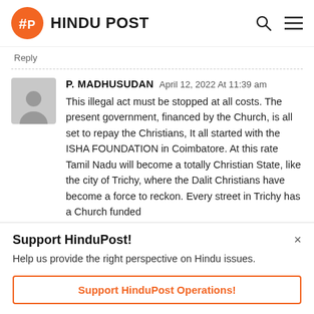HINDU POST
Reply
P. MADHUSUDAN April 12, 2022 At 11:39 am
This illegal act must be stopped at all costs. The present government, financed by the Church, is all set to repay the Christians, It all started with the ISHA FOUNDATION in Coimbatore. At this rate Tamil Nadu will become a totally Christian State, like the city of Trichy, where the Dalit Christians have become a force to reckon. Every street in Trichy has a Church funded by...
Support HinduPost!
Help us provide the right perspective on Hindu issues.
Support HinduPost Operations!